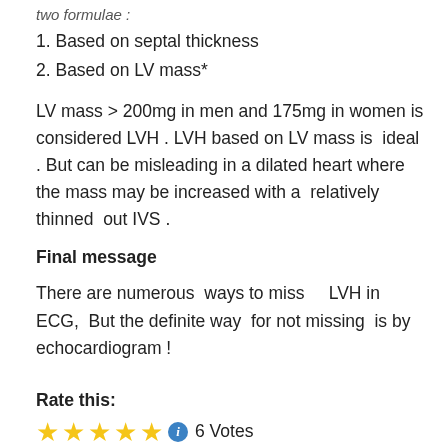two formulae :
1. Based on septal thickness
2. Based on LV mass*
LV mass > 200mg in men and 175mg in women is considered LVH . LVH based on LV mass is  ideal . But can be misleading in a dilated heart where the mass may be increased with a  relatively   thinned  out IVS .
Final message
There are numerous  ways to miss    LVH in ECG,  But the definite way  for not missing  is by echocardiogram !
Rate this:
★★★★★ ⓘ 6 Votes